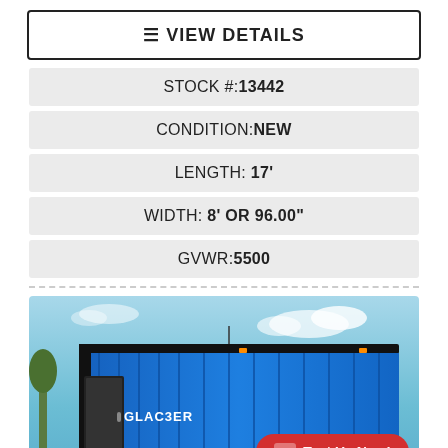☰ VIEW DETAILS
STOCK #: 13442
CONDITION: NEW
LENGTH: 17'
WIDTH: 8' OR 96.00"
GVWR: 5500
[Figure (photo): Blue GLACIER brand ice fishing/camping trailer parked outdoors with clear sky background. A red 'Text Us Now!' chat button is overlaid in the bottom right corner.]